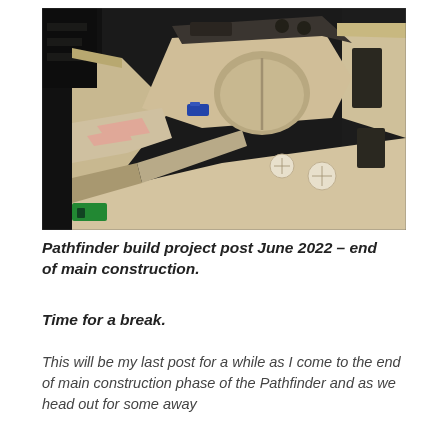[Figure (photo): Interior view of a boat under construction, showing the hull interior in light cream/tan color with plywood panels, a round cockpit area, instrument panel cutouts, and various structural components in a workshop or garage setting.]
Pathfinder build project post June 2022 – end of main construction.
Time for a break.
This will be my last post for a while as I come to the end of main construction phase of the Pathfinder and as we head out for some away